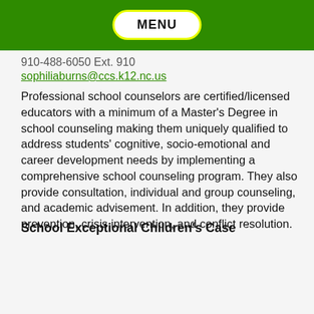MENU
910-488-6050 Ext. 910
sophiliaburns@ccs.k12.nc.us
Professional school counselors are certified/licensed educators with a minimum of a Master's Degree in school counseling making them uniquely qualified to address students' cognitive, socio-emotional and career development needs by implementing a comprehensive school counseling program. They also provide consultation, individual and group counseling, and academic advisement. In addition, they provide prevention, crisis intervention, and conflict resolution.
School Exceptional Children's Case